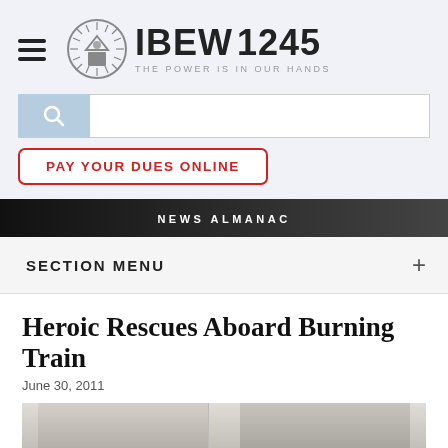IBEW 1245 — THE POWER IS IN OUR HANDS
[Figure (logo): IBEW 1245 logo with circular emblem and tagline THE POWER IS IN OUR HANDS]
[Figure (screenshot): Search bar with blue search button and white input field]
PAY YOUR DUES ONLINE
NEWS ALMANAC
SECTION MENU
Heroic Rescues Aboard Burning Train
June 30, 2011
[Figure (photo): Partial photo of a person indoors, partially cropped at bottom of page]